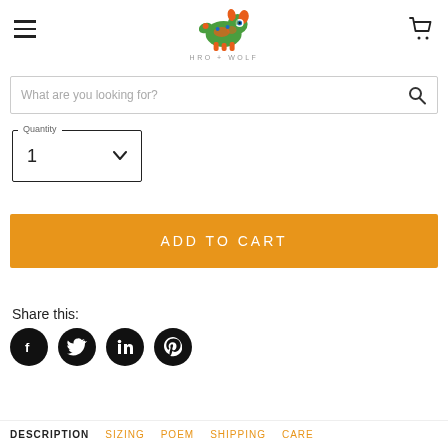[Figure (logo): HRO + WOLF logo — colorful folk-art dog figure with text 'HRO + WOLF' below]
What are you looking for?
Quantity
1
ADD TO CART
Share this:
[Figure (infographic): Social media share icons: Facebook, Twitter, LinkedIn, Pinterest — black circles]
DESCRIPTION   SIZING   POEM   SHIPPING   CARE